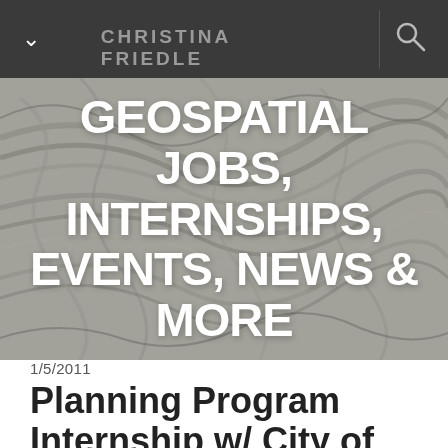CHRISTINA FRIEDLE
[Figure (photo): Close-up photograph of swirling wood grain or rock texture in grey tones with the overlay text: GEOSPATIAL JOBS, INTERNSHIPS, EVENTS, NEWS & MORE]
1/5/2011
Planning Program Internship w/ City of Portland, Bureau of